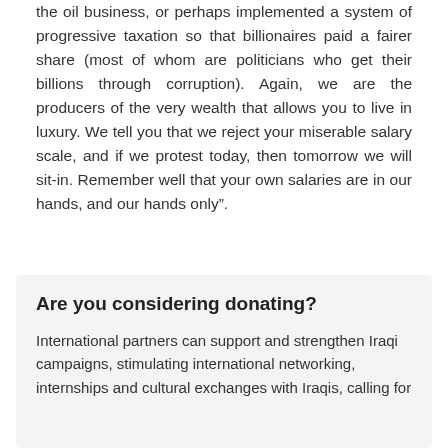the oil business, or perhaps implemented a system of progressive taxation so that billionaires paid a fairer share (most of whom are politicians who get their billions through corruption). Again, we are the producers of the very wealth that allows you to live in luxury. We tell you that we reject your miserable salary scale, and if we protest today, then tomorrow we will sit-in. Remember well that your own salaries are in our hands, and our hands only”.
Are you considering donating?
International partners can support and strengthen Iraqi campaigns, stimulating international networking, internships and cultural exchanges with Iraqis, calling for